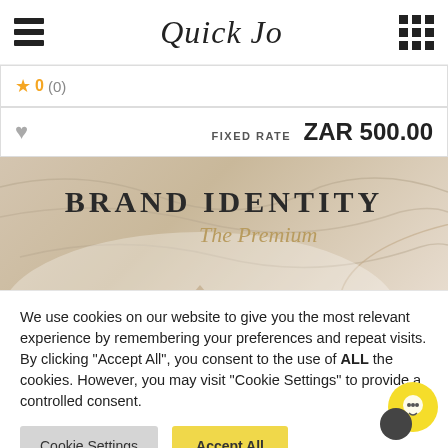Quick Jo — navigation header with hamburger menu and grid icon
★ 0 (0)
FIXED RATE  ZAR 500.00
[Figure (illustration): Brand Identity The Premium promotional banner image with beige/tan background and decorative curved lines]
We use cookies on our website to give you the most relevant experience by remembering your preferences and repeat visits. By clicking "Accept All", you consent to the use of ALL the cookies. However, you may visit "Cookie Settings" to provide a controlled consent.
Cookie Settings | Accept All